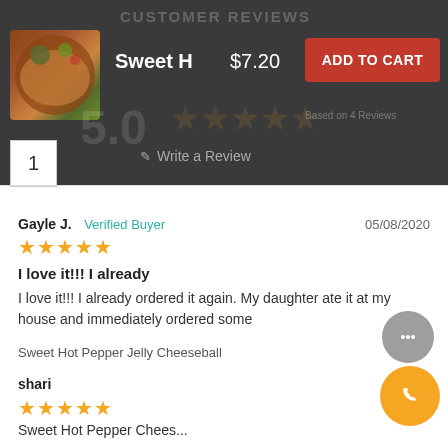CUSTOMER REVIEWS
Sweet H   $7.20   ADD TO CART
1
Write a Review
Gayle J.   Verified Buyer   05/08/2020
★★★★★
I love it!!! I already
I love it!!! I already ordered it again. My daughter ate it at my house and immediately ordered some
Sweet Hot Pepper Jelly Cheeseball
shari   02/05
★★★★★
Sweet Hot Pepper Chees...